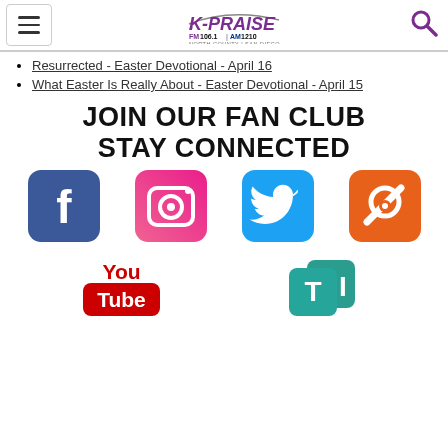K-PRAISE FM 106.1 AM 1210 NORTH COUNTY SAN DIEGO
Resurrected - Easter Devotional - April 16
What Easter Is Really About - Easter Devotional - April 15
JOIN OUR FAN CLUB STAY CONNECTED
[Figure (infographic): Social media icons: Facebook (blue), Instagram (pink gradient), Twitter (blue), Anchor (orange), YouTube (red/white), TI app (teal)]